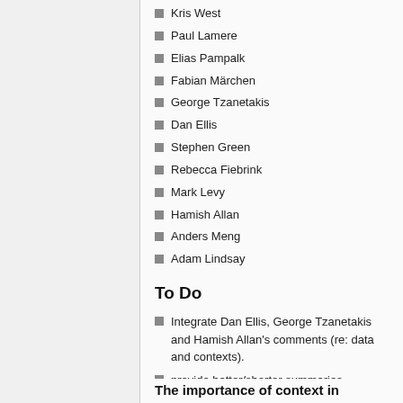Kris West
Paul Lamere
Elias Pampalk
Fabian Märchen
George Tzanetakis
Dan Ellis
Stephen Green
Rebecca Fiebrink
Mark Levy
Hamish Allan
Anders Meng
Adam Lindsay
To Do
Integrate Dan Ellis, George Tzanetakis and Hamish Allan's comments (re: data and contexts).
provide better/shorter summaries
Single bit measures for subjective eval
Populate mean/media debate
The importance of context in